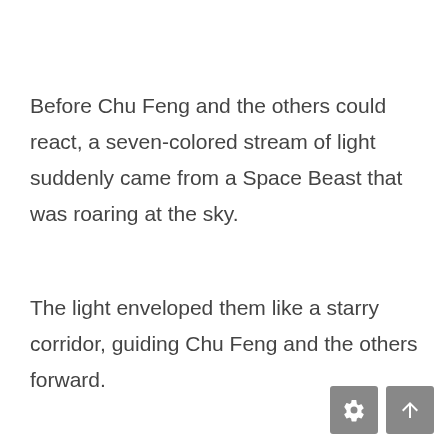Before Chu Feng and the others could react, a seven-colored stream of light suddenly came from a Space Beast that was roaring at the sky.
The light enveloped them like a starry corridor, guiding Chu Feng and the others forward.